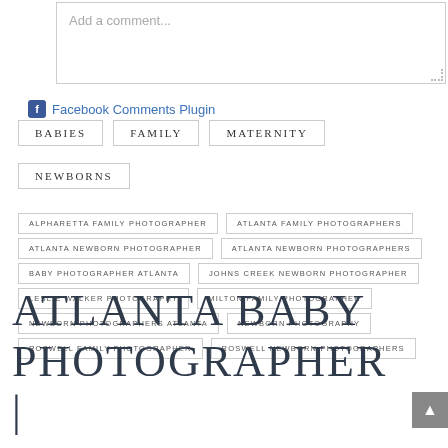[Figure (screenshot): Comment text input box with placeholder text 'Add a comment...' and resize handle at bottom right]
Facebook Comments Plugin
BABIES
FAMILY
MATERNITY
NEWBORNS
ALPHARETTA FAMILY PHOTOGRAPHER
ATLANTA FAMILY PHOTOGRAPHERS
ATLANTA NEWBORN PHOTOGRAPHER
ATLANTA NEWBORN PHOTOGRAPHERS
BABY PHOTOGRAPHER ATLANTA
JOHNS CREEK NEWBORN PHOTOGRAPHER
LESLIE WALKER PHOTOGRAPHY
MILTON FAMILY PHOTOGRAPHER
NEWBORN PHOTOGRAPHERS ATLANTA
NEWBORN PHOTOGRAPHY
ROSWELL FAMILY PHOTOGRAPHER
ROSWELL NEWBORN PHOTOGRAPHERS
ATLANTA BABY PHOTOGRAPHER |